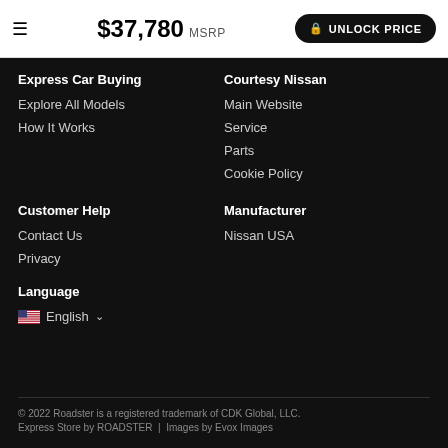$37,780 MSRP  UNLOCK PRICE
Express Car Buying
Explore All Models
How It Works
Courtesy Nissan
Main Website
Service
Parts
Cookie Policy
Customer Help
Contact Us
Privacy
Manufacturer
Nissan USA
Language
English
© 2022 Roadster is a registered trademark of CDK Global, LLC.
Express Store by ROADSTER  |  Images by Evox Images